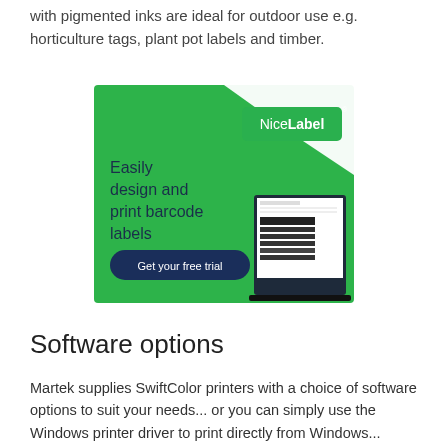with pigmented inks are ideal for outdoor use e.g. horticulture tags, plant pot labels and timber.
[Figure (illustration): NiceLabel advertisement banner on green background. Shows 'NiceLabel' logo in white text on green rounded rectangle, text 'Easily design and print barcode labels', a dark navy 'Get your free trial' button, and a laptop screenshot showing barcode label design software.]
Software options
Martek supplies SwiftColor printers with a choice of software options to suit your needs... or you can simply use the Windows printer driver to print directly from Windows...